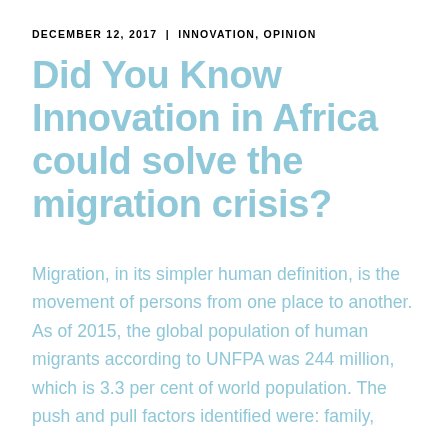DECEMBER 12, 2017  |  INNOVATION, OPINION
Did You Know Innovation in Africa could solve the migration crisis?
Migration, in its simpler human definition, is the movement of persons from one place to another. As of 2015, the global population of human migrants according to UNFPA was 244 million, which is 3.3 per cent of world population. The push and pull factors identified were: family,